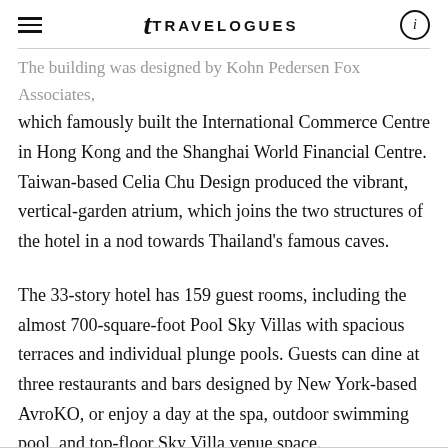TRAVELOGUES
The building was designed by Kohn Pedersen Fox Associates, which famously built the International Commerce Centre in Hong Kong and the Shanghai World Financial Centre. Taiwan-based Celia Chu Design produced the vibrant, vertical-garden atrium, which joins the two structures of the hotel in a nod towards Thailand's famous caves.
The 33-story hotel has 159 guest rooms, including the almost 700-square-foot Pool Sky Villas with spacious terraces and individual plunge pools. Guests can dine at three restaurants and bars designed by New York-based AvroKO, or enjoy a day at the spa, outdoor swimming pool, and top-floor Sky Villa venue space.
CAPELLA BANGKOK